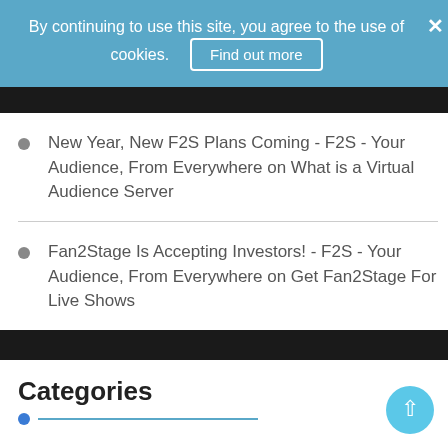By continuing to use this site, you agree to the use of cookies. Find out more ×
New Year, New F2S Plans Coming - F2S - Your Audience, From Everywhere on What is a Virtual Audience Server
Fan2Stage Is Accepting Investors! - F2S - Your Audience, From Everywhere on Get Fan2Stage For Live Shows
Categories
Artists/Entertainers